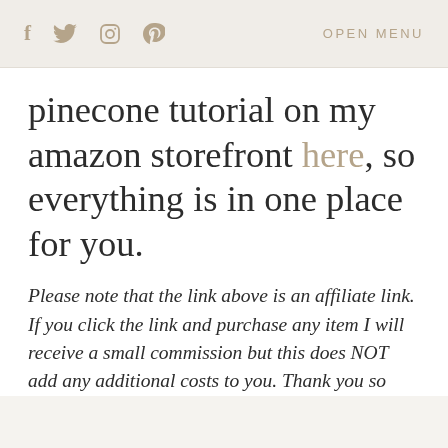f  [twitter]  [instagram]  [pinterest]    OPEN MENU
pinecone tutorial on my amazon storefront here, so everything is in one place for you.
Please note that the link above is an affiliate link. If you click the link and purchase any item I will receive a small commission but this does NOT add any additional costs to you. Thank you so much for supporting Sugar Ruffles Pl...